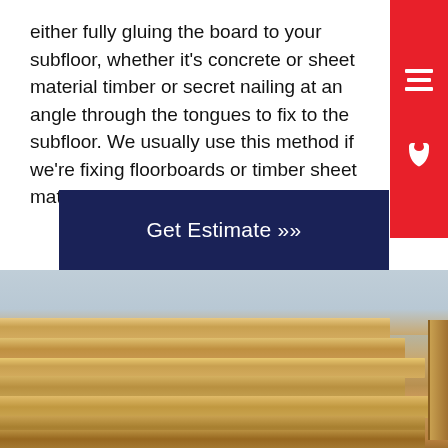either fully gluing the board to your subfloor, whether it's concrete or sheet material timber or secret nailing at an angle through the tongues to fix to the subfloor. We usually use this method if we're fixing floorboards or timber sheet materials.
[Figure (other): Red sidebar with menu/hamburger icon (top) and phone icon (bottom)]
[Figure (other): Dark navy blue 'Get Estimate >>' call-to-action button]
[Figure (photo): Photo of stacked timber/wood planks with sky in background]